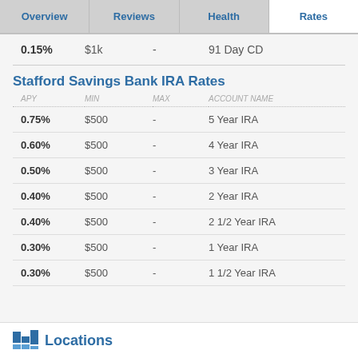Overview | Reviews | Health | Rates
| APY | MIN | MAX | ACCOUNT NAME |
| --- | --- | --- | --- |
| 0.15% | $1k | - | 91 Day CD |
Stafford Savings Bank IRA Rates
| APY | MIN | MAX | ACCOUNT NAME |
| --- | --- | --- | --- |
| 0.75% | $500 | - | 5 Year IRA |
| 0.60% | $500 | - | 4 Year IRA |
| 0.50% | $500 | - | 3 Year IRA |
| 0.40% | $500 | - | 2 Year IRA |
| 0.40% | $500 | - | 2 1/2 Year IRA |
| 0.30% | $500 | - | 1 Year IRA |
| 0.30% | $500 | - | 1 1/2 Year IRA |
Locations